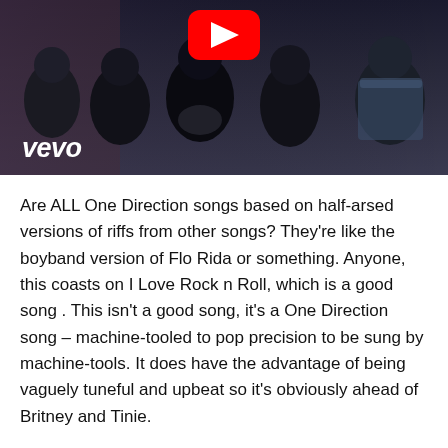[Figure (screenshot): YouTube/Vevo music video thumbnail showing group of young men in dark clothing, with YouTube play button at top center and vevo logo at bottom left]
Are ALL One Direction songs based on half-arsed versions of riffs from other songs? They're like the boyband version of Flo Rida or something. Anyone, this coasts on I Love Rock n Roll, which is a good song . This isn't a good song, it's a One Direction song – machine-tooled to pop precision to be sung by machine-tools. It does have the advantage of being vaguely tuneful and upbeat so it's obviously ahead of Britney and Tinie.
The video is basically a sequence of very bad ideas for a night out. Burst into a kebab shop and take a bite from the